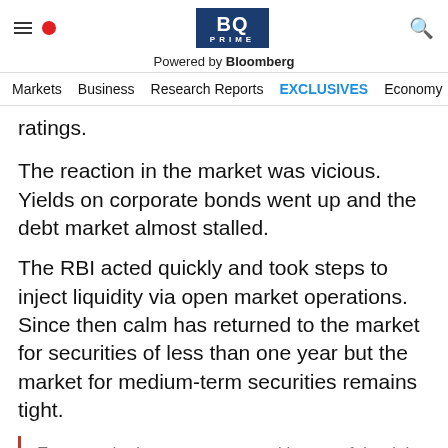[Figure (logo): BQ Prime logo with hamburger menu, red dot, and search icon]
Powered by Bloomberg
Markets  Business  Research Reports  EXCLUSIVES  Economy
ratings.
The reaction in the market was vicious. Yields on corporate bonds went up and the debt market almost stalled.
The RBI acted quickly and took steps to inject liquidity via open market operations. Since then calm has returned to the market for securities of less than one year but the market for medium-term securities remains tight.
Even so, the long term structural issues of the debt market still exist. The actions taken so far don't do